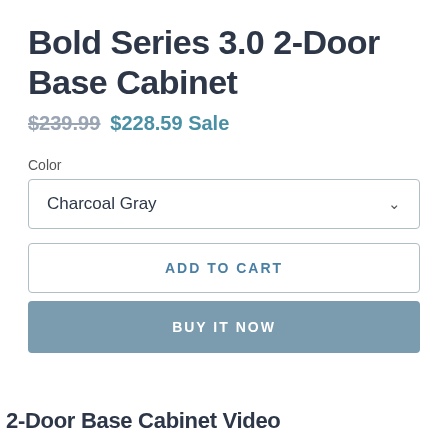Bold Series 3.0 2-Door Base Cabinet
$239.99 $228.59 Sale
Color
Charcoal Gray
ADD TO CART
BUY IT NOW
2-Door Base Cabinet Video